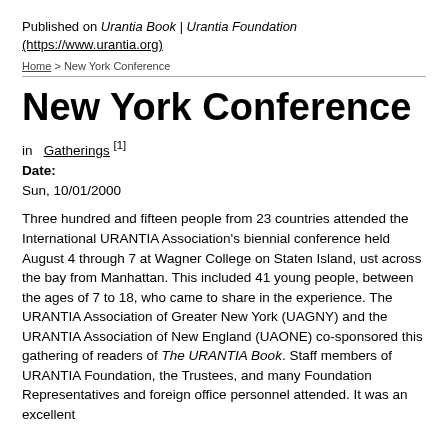Published on Urantia Book | Urantia Foundation (https://www.urantia.org)
Home > New York Conference
New York Conference
in  Gatherings [1]
Date:
Sun, 10/01/2000
Three hundred and fifteen people from 23 countries attended the International URANTIA Association's biennial conference held August 4 through 7 at Wagner College on Staten Island, ust across the bay from Manhattan. This included 41 young people, between the ages of 7 to 18, who came to share in the experience. The URANTIA Association of Greater New York (UAGNY) and the URANTIA Association of New England (UAONE) co-sponsored this gathering of readers of The URANTIA Book. Staff members of URANTIA Foundation, the Trustees, and many Foundation Representatives and foreign office personnel attended. It was an excellent